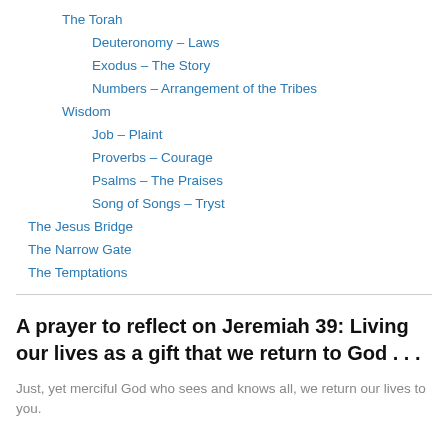The Torah
Deuteronomy – Laws
Exodus – The Story
Numbers – Arrangement of the Tribes
Wisdom
Job – Plaint
Proverbs – Courage
Psalms – The Praises
Song of Songs – Tryst
The Jesus Bridge
The Narrow Gate
The Temptations
A prayer to reflect on Jeremiah 39: Living our lives as a gift that we return to God . . .
Just, yet merciful God who sees and knows all, we return our lives to you.